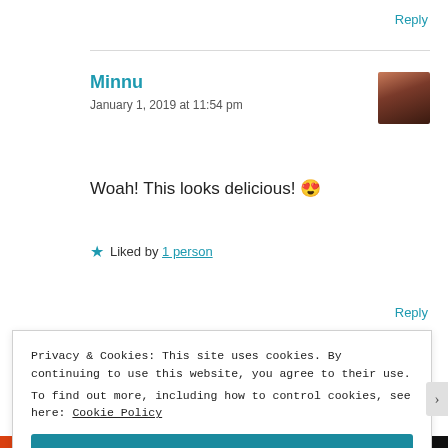Reply
Minnu
January 1, 2019 at 11:54 pm
Woah! This looks delicious! 😍
★ Liked by 1 person
Reply
Privacy & Cookies: This site uses cookies. By continuing to use this website, you agree to their use.
To find out more, including how to control cookies, see here: Cookie Policy
Close and accept